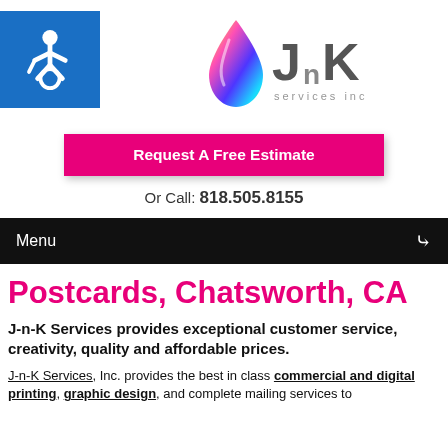[Figure (logo): JnK Services Inc logo with colorful ink drop and stylized text]
[Figure (logo): Blue accessibility icon (wheelchair symbol)]
Request A Free Estimate
Or Call: 818.505.8155
Menu
Postcards, Chatsworth, CA
J-n-K Services provides exceptional customer service, creativity, quality and affordable prices.
J-n-K Services, Inc. provides the best in class commercial and digital printing, graphic design, and complete mailing services to